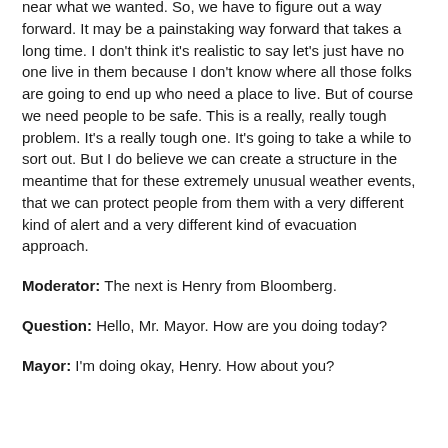near what we wanted. So, we have to figure out a way forward. It may be a painstaking way forward that takes a long time. I don't think it's realistic to say let's just have no one live in them because I don't know where all those folks are going to end up who need a place to live. But of course we need people to be safe. This is a really, really tough problem. It's a really tough one. It's going to take a while to sort out. But I do believe we can create a structure in the meantime that for these extremely unusual weather events, that we can protect people from them with a very different kind of alert and a very different kind of evacuation approach.
Moderator: The next is Henry from Bloomberg.
Question: Hello, Mr. Mayor. How are you doing today?
Mayor: I'm doing okay, Henry. How about you?